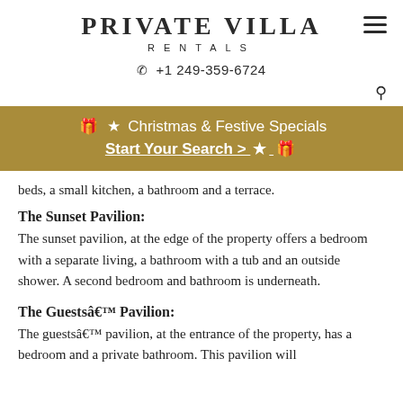PRIVATE VILLA RENTALS
+1 249-359-6724
[Figure (infographic): Gold banner with Christmas gift and star icons reading: Christmas & Festive Specials Start Your Search > with star and gift icons]
beds, a small kitchen, a bathroom and a terrace.
The Sunset Pavilion:
The sunset pavilion, at the edge of the property offers a bedroom with a separate living, a bathroom with a tub and an outside shower. A second bedroom and bathroom is underneath.
The Guestsâ€™ Pavilion:
The guestsâ€™ pavilion, at the entrance of the property, has a bedroom and a private bathroom. This pavilion will